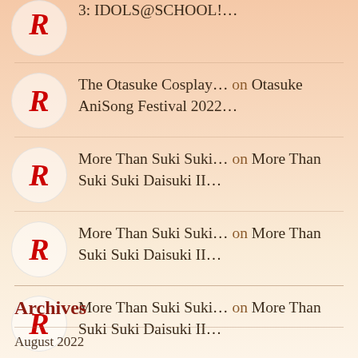3: IDOLS@SCHOOL!…
The Otasuke Cosplay… on Otasuke AniSong Festival 2022…
More Than Suki Suki… on More Than Suki Suki Daisuki II…
More Than Suki Suki… on More Than Suki Suki Daisuki II…
More Than Suki Suki… on More Than Suki Suki Daisuki II…
Archives
August 2022